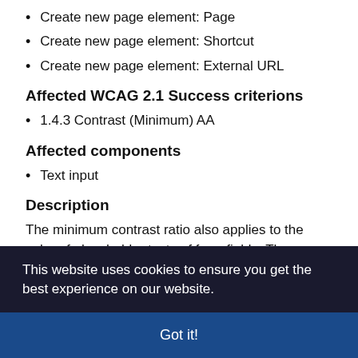Create new page element: Page
Create new page element: Shortcut
Create new page element: External URL
Affected WCAG 2.1 Success criterions
1.4.3 Contrast (Minimum) AA
Affected components
Text input
Description
The minimum contrast ratio also applies to the color of placeholder texts of form fields. The contrast of the placeholder texts "Username" and "Password" is too low
This website uses cookies to ensure you get the best experience on our website.
Got it!